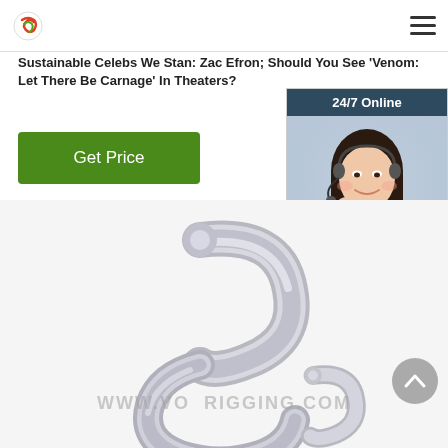[Figure (logo): Circular logo with orange/green swirl icon]
Sustainable Celebs We Stan: Zac Efron; Should You See 'Venom: Let There Be Carnage' In Theaters?
[Figure (illustration): Green 'Get Price' button]
[Figure (infographic): Advertisement panel: '24/7 Online' header, woman with headset, 'Click here for free chat!' text, orange QUOTATION button]
[Figure (photo): Close-up photo of a shiny metal S-hook / rigging hook on white background with www.voyagerigging.com watermark]